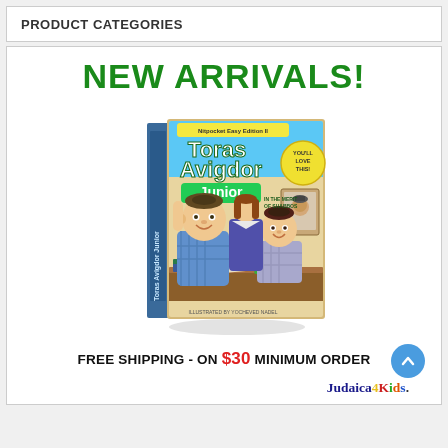PRODUCT CATEGORIES
NEW ARRIVALS!
[Figure (photo): Book cover of 'Toras Avigdor Junior' showing illustrated cartoon children in a classroom/home setting, with the subtitle text and 'Illustrated by Yocheved Nadel']
FREE SHIPPING - ON $30 MINIMUM ORDER
Judaica4Kids.